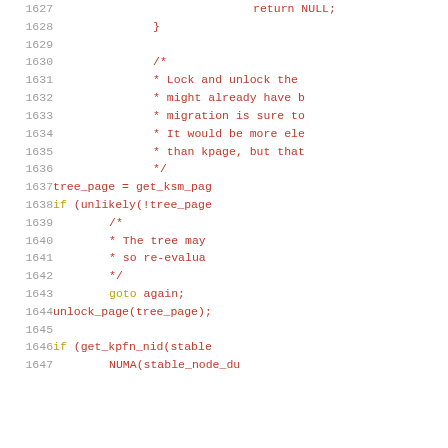[Figure (screenshot): Source code listing (C/kernel code) showing lines 1627–1647+, with line numbers in gray on the left and syntax-highlighted code on the right. Keywords in yellow/gold, comments and most code in red/dark-red, on white background.]